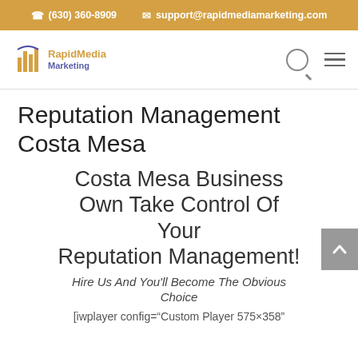(630) 360-8909   support@rapidmediamarketing.com
[Figure (logo): RapidMedia Marketing logo with orange bar chart icon and company name]
Reputation Management Costa Mesa
Costa Mesa Business Own Take Control Of Your Reputation Management!
Hire Us And You'll Become The Obvious Choice
[iwplayer config="Custom Player 575x358"